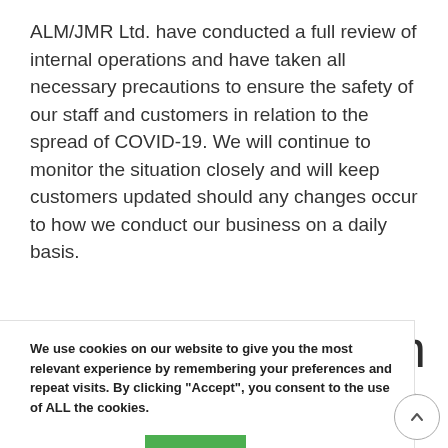ALM/JMR Ltd. have conducted a full review of internal operations and have taken all necessary precautions to ensure the safety of our staff and customers in relation to the spread of COVID-19. We will continue to monitor the situation closely and will keep customers updated should any changes occur to how we conduct our business on a daily basis.
We use cookies on our website to give you the most relevant experience by remembering your preferences and repeat visits. By clicking "Accept", you consent to the use of ALL the cookies.
Cookie settings   ACCEPT
stown (JMR) ibutors Various
Hard Metals